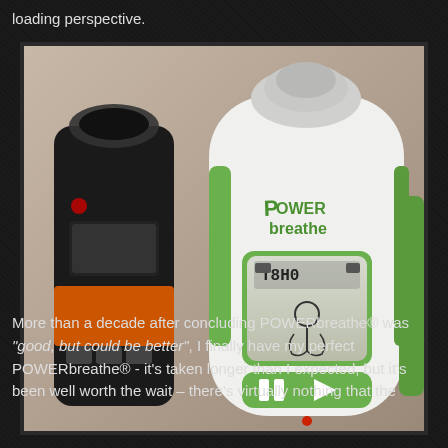loading perspective.
[Figure (photo): Photo of a POWERbreathe electronic inspiratory muscle training device (white and green, with LCD screen showing a person icon and display reading 'T8H0') alongside a black and orange spirometer/flow measurement device, both resting on a surface.]
More than a decade after concluding POWERbreathe® was "good, but could be better", I finally have my perfect POWERbreathe® - it's taken longer than I expected, but it's been well worth the wait – there's virtually nothing that the